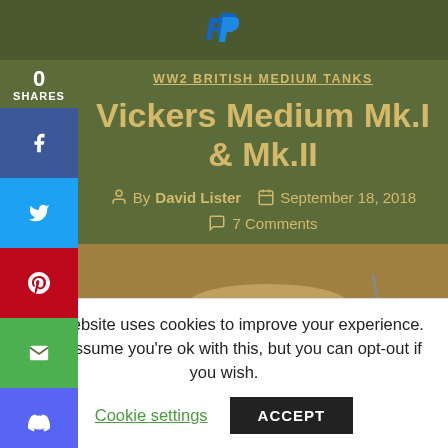[Figure (logo): PayPal logo icon (blue stylized P) in top bar]
0 SHARES
WW2 BRITISH MEDIUM TANKS
Vickers Medium Mk.I & Mk.II
By David Lister  September 18, 2018
7 Comments
[Figure (illustration): 3D rendered model of a Vickers Medium tank in tan/desert color scheme, showing the turret and upper hull]
This website uses cookies to improve your experience. We'll assume you're ok with this, but you can opt-out if you wish.
Cookie settings   ACCEPT